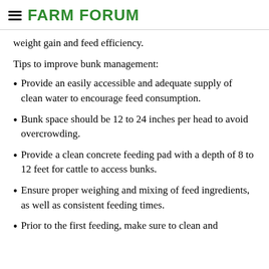FARM FORUM
weight gain and feed efficiency.
Tips to improve bunk management:
Provide an easily accessible and adequate supply of clean water to encourage feed consumption.
Bunk space should be 12 to 24 inches per head to avoid overcrowding.
Provide a clean concrete feeding pad with a depth of 8 to 12 feet for cattle to access bunks.
Ensure proper weighing and mixing of feed ingredients, as well as consistent feeding times.
Prior to the first feeding, make sure to clean and…